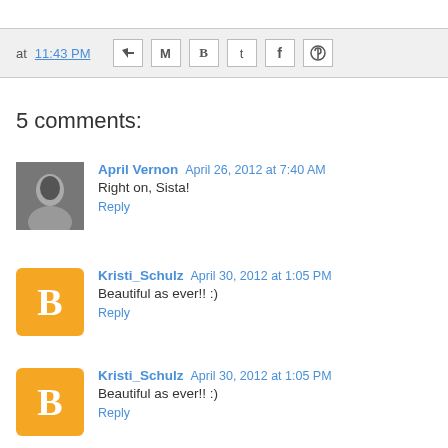at 11:43 PM [share icons: email, Gmail, Blogger, Twitter, Facebook, Pinterest]
5 comments:
April Vernon  April 26, 2012 at 7:40 AM
Right on, Sista!
Reply
Kristi_Schulz  April 30, 2012 at 1:05 PM
Beautiful as ever!! :)
Reply
Kristi_Schulz  April 30, 2012 at 1:05 PM
Beautiful as ever!! :)
Reply